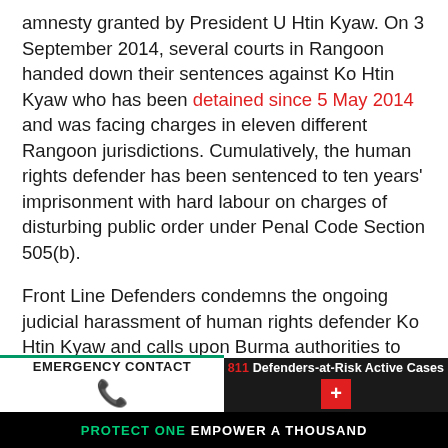amnesty granted by President U Htin Kyaw. On 3 September 2014, several courts in Rangoon handed down their sentences against Ko Htin Kyaw who has been detained since 5 May 2014 and was facing charges in eleven different Rangoon jurisdictions. Cumulatively, the human rights defender has been sentenced to ten years' imprisonment with hard labour on charges of disturbing public order under Penal Code Section 505(b).
Front Line Defenders condemns the ongoing judicial harassment of human rights defender Ko Htin Kyaw and calls upon Burma authorities to drop all charges against him. Front Line Defenders strongly believes that the judicial harassment against him is directly linked to his peaceful and le...
EMERGENCY CONTACT | 811 Defenders-at-Risk Active Cases | PROTECT ONE EMPOWER A THOUSAND